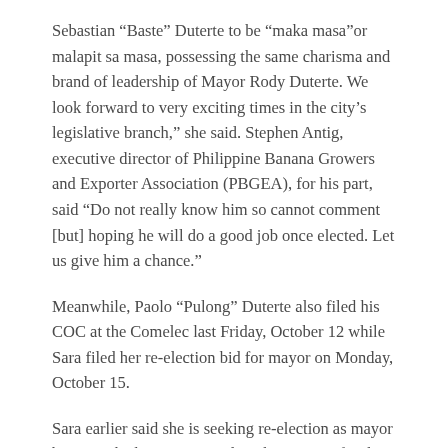Sebastian “Baste” Duterte to be “maka masa”or malapit sa masa, possessing the same charisma and brand of leadership of Mayor Rody Duterte. We look forward to very exciting times in the city’s legislative branch,” she said. Stephen Antig, executive director of Philippine Banana Growers and Exporter Association (PBGEA), for his part, said “Do not really know him so cannot comment [but] hoping he will do a good job once elected. Let us give him a chance.”
Meanwhile, Paolo “Pulong” Duterte also filed his COC at the Comelec last Friday, October 12 while Sara filed her re-election bid for mayor on Monday, October 15.
Sara earlier said she is seeking re-election as mayor because she hopes to complete the projects for the city that she started. She said her position as city mayor will allow her to effectively support her father.
Meanwhile, Sara admitted that what is happening in the city is a political dynasty but said that it was not happening in the city or the country alone.